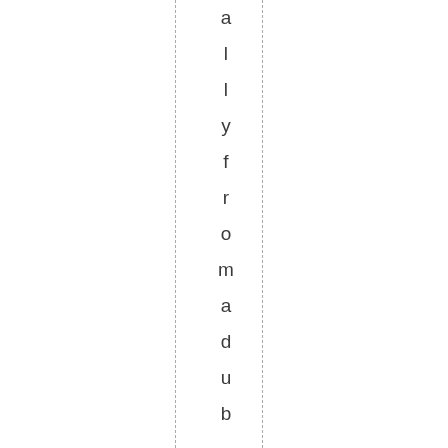ally from a dubious scare camp